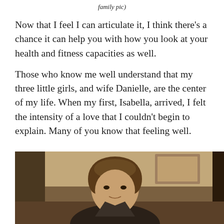family pic)
Now that I feel I can articulate it, I think there’s a chance it can help you with how you look at your health and fitness capacities as well.
Those who know me well understand that my three little girls, and wife Danielle, are the center of my life. When my first, Isabella, arrived, I felt the intensity of a love that I couldn’t begin to explain. Many of you know that feeling well.
[Figure (photo): Photo of a man with brown hair, smiling slightly, photographed indoors with a room visible in the background.]